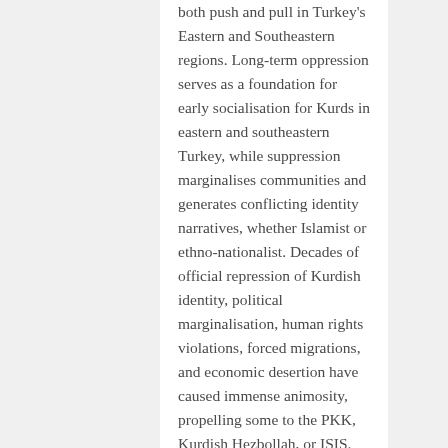both push and pull in Turkey's Eastern and Southeastern regions. Long-term oppression serves as a foundation for early socialisation for Kurds in eastern and southeastern Turkey, while suppression marginalises communities and generates conflicting identity narratives, whether Islamist or ethno-nationalist. Decades of official repression of Kurdish identity, political marginalisation, human rights violations, forced migrations, and economic desertion have caused immense animosity, propelling some to the PKK, Kurdish Hezbollah, or ISIS.
These findings back up prior research that shows a link between state repression and political violence (Abbas and Yigit, 2016). At the micro and meso levels of study,